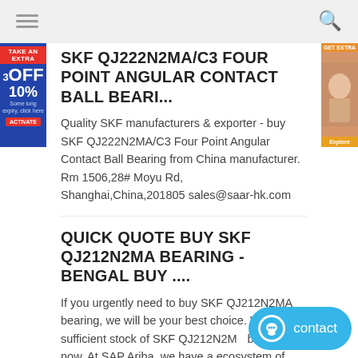Navigation header with hamburger menu and search icon
SKF QJ222N2MA/C3 FOUR POINT ANGULAR CONTACT BALL BEARI...
Quality SKF manufacturers & exporter - buy SKF QJ222N2MA/C3 Four Point Angular Contact Ball Bearing from China manufacturer. Rm 1506,28# Moyu Rd, Shanghai,China,201805 sales@saar-hk.com
QUICK QUOTE BUY SKF QJ212N2MA BEARING - BENGAL BUY ....
If you urgently need to buy SKF QJ212N2MA bearing, we will be your best choice. We have sufficient stock of SKF QJ212N2MA bearing now. At SAP Ariba, we have a ecosystem of partners who can help you